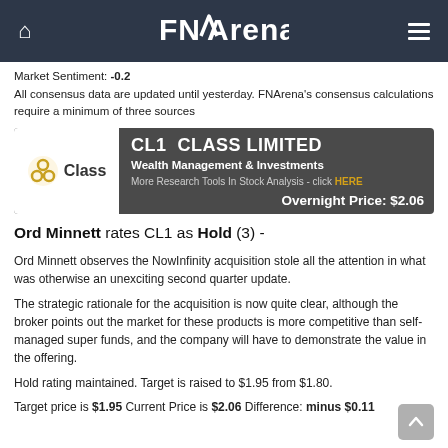FNArena
Market Sentiment: -0.2
All consensus data are updated until yesterday. FNArena's consensus calculations require a minimum of three sources
[Figure (infographic): CL1 CLASS LIMITED company banner with Class logo, Wealth Management & Investments sector, overnight price $2.06]
Ord Minnett rates CL1 as Hold (3) -
Ord Minnett observes the NowInfinity acquisition stole all the attention in what was otherwise an unexciting second quarter update.
The strategic rationale for the acquisition is now quite clear, although the broker points out the market for these products is more competitive than self-managed super funds, and the company will have to demonstrate the value in the offering.
Hold rating maintained. Target is raised to $1.95 from $1.80.
Target price is $1.95 Current Price is $2.06 Difference: minus $0.11